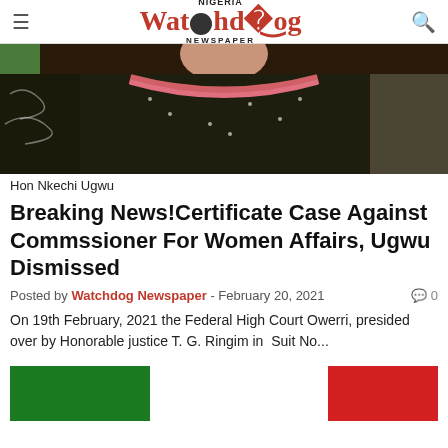NIGERIA Watchdog NEWSPAPER
[Figure (photo): Close-up photo of Hon Nkechi Ugwu wearing a dark patterned outfit with pink/red collar trim]
Hon Nkechi Ugwu
Breaking News!Certificate Case Against Commssioner For Women Affairs, Ugwu Dismissed
Posted by Watchdog Newspaper - February 20, 2021   0
On 19th February, 2021 the Federal High Court Owerri, presided over by Honorable justice T. G. Ringim in  Suit No...
[Figure (photo): Green rectangular image block at bottom left]
[Figure (photo): Red rectangular image block at bottom right]